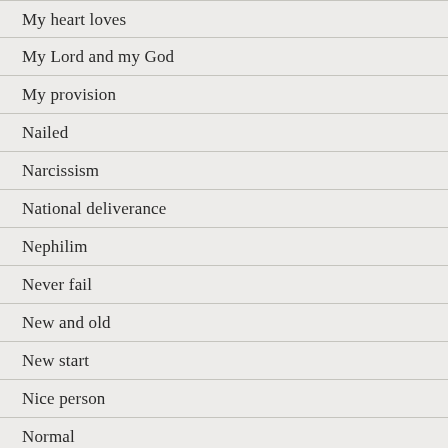My heart loves
My Lord and my God
My provision
Nailed
Narcissism
National deliverance
Nephilim
Never fail
New and old
New start
Nice person
Normal
Not all...